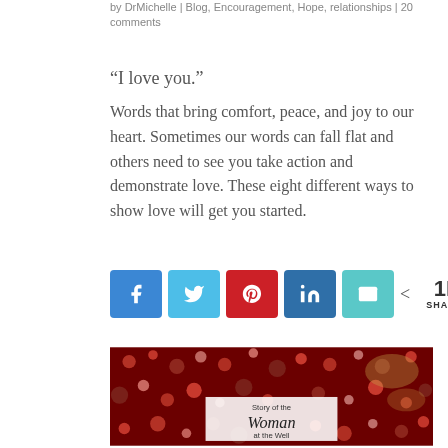by DrMichelle | Blog, Encouragement, Hope, relationships | 20 comments
“I love you.”
Words that bring comfort, peace, and joy to our heart. Sometimes our words can fall flat and others need to see you take action and demonstrate love. These eight different ways to show love will get you started.
[Figure (infographic): Social media share buttons: Facebook (blue), Twitter (light blue), Pinterest (red), LinkedIn (dark blue), Email (teal), followed by a share count showing 1K SHARES]
[Figure (photo): Red and pink heart confetti spread across the image, with a white semi-transparent overlay box in the center-bottom area containing the text 'Story of the Woman at the Well']